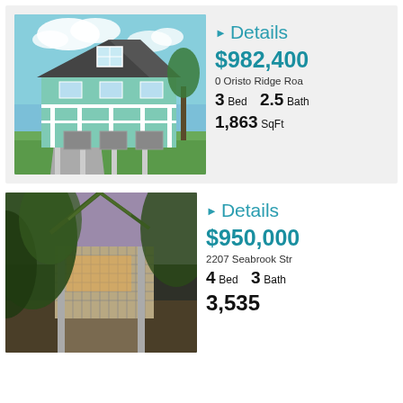[Figure (photo): Exterior photo of a light blue coastal house on stilts with white railings and columns, two-story, sunny day with blue sky and clouds]
Details
$982,400
0 Oristo Ridge Roa
3 Bed   2.5 Bath
1,863 SqFt
[Figure (photo): Exterior photo of a house viewed through trees with lush greenery and large palm-like plants, dusk or overcast lighting]
Details
$950,000
2207 Seabrook Str
4 Bed   3 Bath
3,535